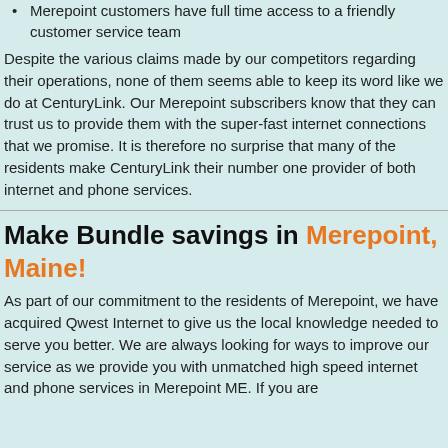Merepoint customers have full time access to a friendly customer service team
Despite the various claims made by our competitors regarding their operations, none of them seems able to keep its word like we do at CenturyLink. Our Merepoint subscribers know that they can trust us to provide them with the super-fast internet connections that we promise. It is therefore no surprise that many of the residents make CenturyLink their number one provider of both internet and phone services.
Make Bundle savings in Merepoint, Maine!
As part of our commitment to the residents of Merepoint, we have acquired Qwest Internet to give us the local knowledge needed to serve you better. We are always looking for ways to improve our service as we provide you with unmatched high speed internet and phone services in Merepoint ME. If you are